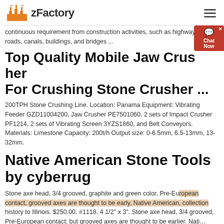zFactory
continuous requirement from construction activities, such as highways, roads, canals, buildings, and bridges ...
Top Quality Mobile Jaw Crusher For Crushing Stone Crusher ...
200TPH Stone Crushing Line. Location: Panama Equipment: Vibrating Feeder GZD11004200, Jaw Crusher PE7501060, 2 sets of Impact Crusher PF1214, 2 sets of Vibrating Screen 3YZS1860, and Belt Conveyors. Materials: Limestone Capacity: 200t/h Output size: 0-6.5mm, 6.5-13mm, 13-32mm.
Native American Stone Tools by cyberrug
Stone axe head, 3/4 grooved, graphite and green color, Pre-European contact, grooved axes are thought to be early, Native American, collection history to Illinois. $250.00. #1118. 4 1/2" x 3". Stone axe head, 3/4 grooved, Pre-European contact; but grooved axes are thought to be earlier. Nati…